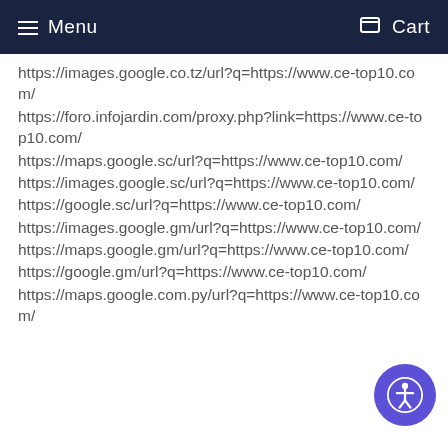≡ Menu   🛒 Cart
https://images.google.co.tz/url?q=https://www.ce-top10.com/
https://foro.infojardin.com/proxy.php?link=https://www.ce-top10.com/
https://maps.google.sc/url?q=https://www.ce-top10.com/
https://images.google.sc/url?q=https://www.ce-top10.com/
https://google.sc/url?q=https://www.ce-top10.com/
https://images.google.gm/url?q=https://www.ce-top10.com/
https://maps.google.gm/url?q=https://www.ce-top10.com/
https://google.gm/url?q=https://www.ce-top10.com/
https://maps.google.com.py/url?q=https://www.ce-top10.com/